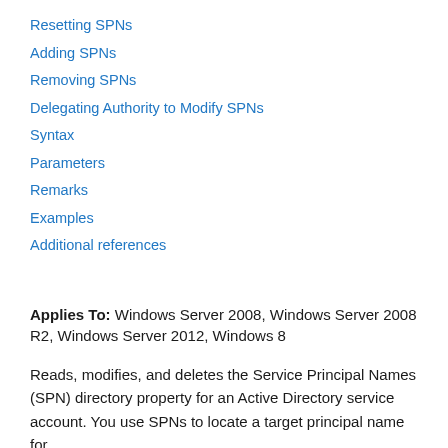Resetting SPNs
Adding SPNs
Removing SPNs
Delegating Authority to Modify SPNs
Syntax
Parameters
Remarks
Examples
Additional references
Applies To: Windows Server 2008, Windows Server 2008 R2, Windows Server 2012, Windows 8
Reads, modifies, and deletes the Service Principal Names (SPN) directory property for an Active Directory service account. You use SPNs to locate a target principal name for